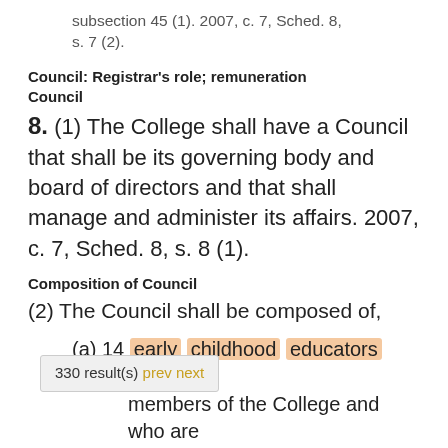subsection 45 (1). 2007, c. 7, Sched. 8, s. 7 (2).
Council: Registrar's role; remuneration
Council
8. (1) The College shall have a Council that shall be its governing body and board of directors and that shall manage and administer its affairs. 2007, c. 7, Sched. 8, s. 8 (1).
Composition of Council
(2) The Council shall be composed of,
(a) 14 early childhood educators who are members of the College and who are elected by the members of the College in accordance with the by-laws to represent such geographic areas of the Province as
330 result(s) prev next